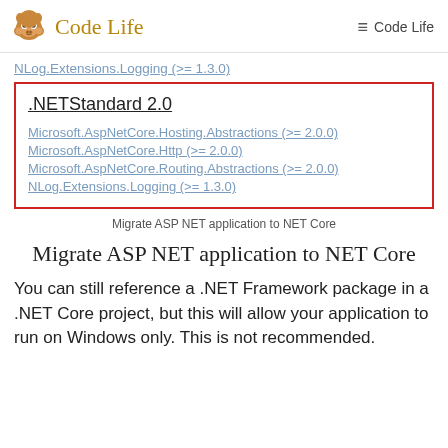Code Life  ≡ Code Life
NLog.Extensions.Logging (>= 1.3.0)
[Figure (screenshot): Red-bordered box showing .NETStandard 2.0 dependencies including Microsoft.AspNetCore.Hosting.Abstractions (>= 2.0.0), Microsoft.AspNetCore.Http (>= 2.0.0), Microsoft.AspNetCore.Routing.Abstractions (>= 2.0.0), NLog.Extensions.Logging (>= 1.3.0)]
Migrate ASP NET application to NET Core
Migrate ASP NET application to NET Core
You can still reference a .NET Framework package in a .NET Core project, but this will allow your application to run on Windows only. This is not recommended.